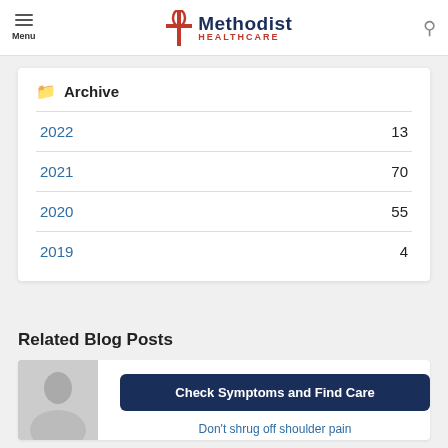Menu — Methodist Healthcare
Archive
2022   13
2021   70
2020   55
2019   4
Related Blog Posts
Check Symptoms and Find Care
Don't shrug off shoulder pain